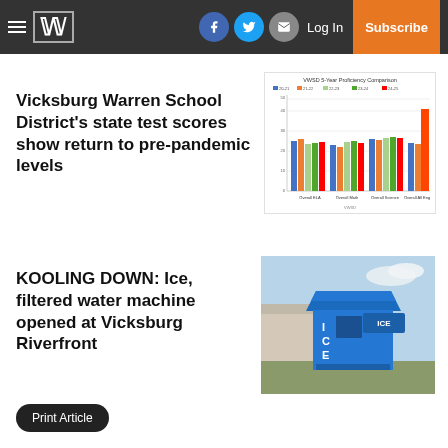Navigation bar with hamburger menu, newspaper logo, social icons (Facebook, Twitter, Email), Log In, Subscribe
Vicksburg Warren School District's state test scores show return to pre-pandemic levels
[Figure (bar-chart): Grouped bar chart showing VWSD 5-year proficiency comparison across Overall ELA, Overall Math, Overall Science, Overall All Eng. Multiple colored bars per group representing different years.]
KOOLING DOWN: Ice, filtered water machine opened at Vicksburg Riverfront
[Figure (photo): Photo of an ice and filtered water vending machine with blue roof at Vicksburg Riverfront. Machine has ICE lettering on the side.]
Print Article